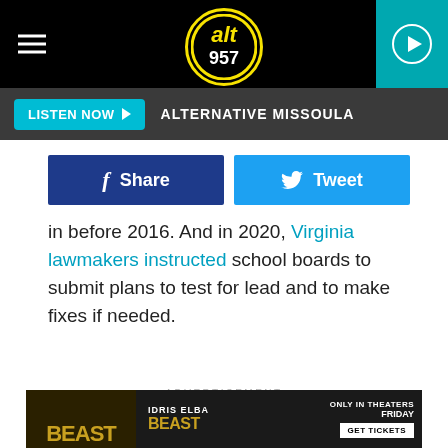ALT 957 - ALTERNATIVE MISSOULA
[Figure (screenshot): Share and Tweet social media buttons]
in before 2016. And in 2020, Virginia lawmakers instructed school boards to submit plans to test for lead and to make fixes if needed.
ADVERTISEMENT
[Figure (photo): Beast movie advertisement banner - IDRIS ELBA BEAST ONLY IN THEATERS FRIDAY GET TICKETS]